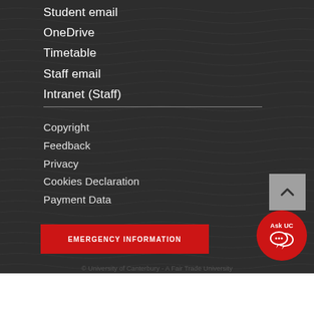Student email
OneDrive
Timetable
Staff email
Intranet (Staff)
Copyright
Feedback
Privacy
Cookies Declaration
Payment Data
EMERGENCY INFORMATION
© University of Canterbury - A Fair Trade University